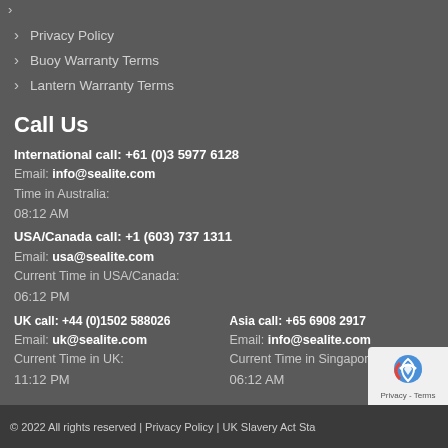Privacy Policy
Buoy Warranty Terms
Lantern Warranty Terms
Call Us
International call: +61 (0)3 5977 6128
Email: info@sealite.com
Time in Australia:
08:12 AM
USA/Canada call: +1 (603) 737 1311
Email: usa@sealite.com
Current Time in USA/Canada:
06:12 PM
UK call: +44 (0)1502 588026
Asia call: +65 6908 2917
Email: uk@sealite.com
Email: info@sealite.com
Current Time in UK:
Current Time in Singapore:
11:12 PM
06:12 AM
© 2022 All rights reserved | Privacy Policy | UK Slavery Act Sta...